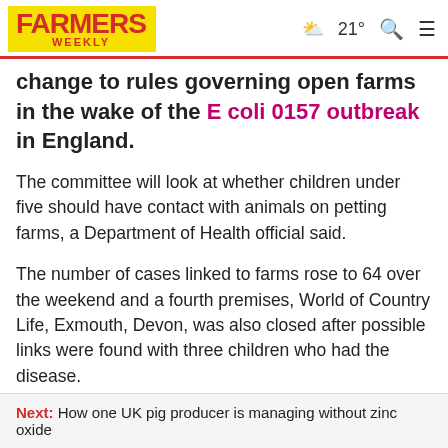Farmers Weekly | 21° | Search | Menu
change to rules governing open farms in the wake of the E coli 0157 outbreak in England.
The committee will look at whether children under five should have contact with animals on petting farms, a Department of Health official said.
The number of cases linked to farms rose to 64 over the weekend and a fourth premises, World of Country Life, Exmouth, Devon, was also closed after possible links were found with three children who had the disease.
The Health Protection Agency said...
Next: How one UK pig producer is managing without zinc oxide